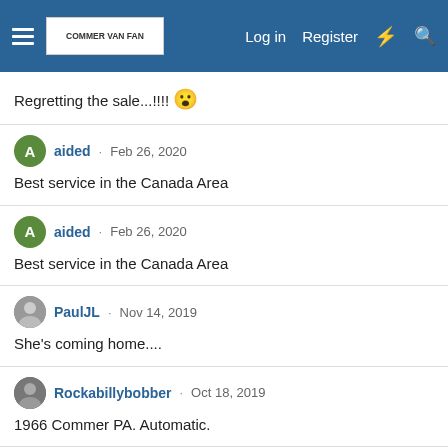Log in  Register
Regretting the sale...!!!! 😮
aided · Feb 26, 2020
Best service in the Canada Area
aided · Feb 26, 2020
Best service in the Canada Area
PaulJL · Nov 14, 2019
She's coming home....
Rockabillybobber · Oct 18, 2019
1966 Commer PA. Automatic.
Chris Taylor ▶ Paul Goldsmith · Oct 16, 2019
Hi Paul    have you still got the rear lights for sale? Text or